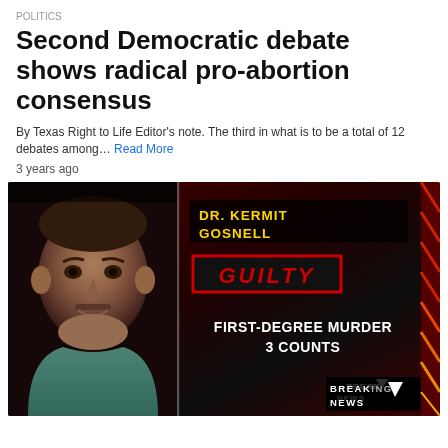POLITICS
Second Democratic debate shows radical pro-abortion consensus
By Texas Right to Life Editor’s note. The third in what is to be a total of 12 debates among…
Read More
3 years ago
[Figure (photo): TV news graphic showing Dr. Kermit Gosnell verdict: 'DR. KERMIT GOSNELL' in gold text, 'GUILTY' in red on black box with red border, 'FIRST-DEGREE MURDER 3 COUNTS' in white text, 'BREAKING NEWS' logo bottom right. Left panel shows mugshot-style photo of an older man.]